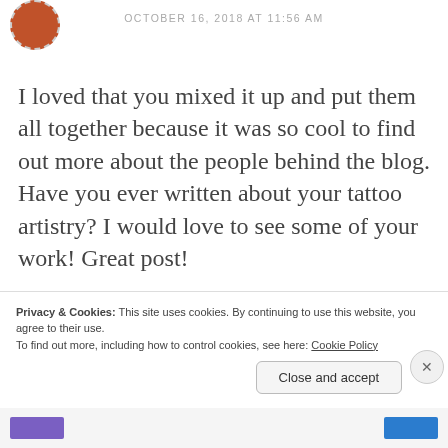OCTOBER 16, 2018 AT 11:56 AM
I loved that you mixed it up and put them all together because it was so cool to find out more about the people behind the blog. Have you ever written about your tattoo artistry? I would love to see some of your work! Great post!

Alex x
Privacy & Cookies: This site uses cookies. By continuing to use this website, you agree to their use.
To find out more, including how to control cookies, see here: Cookie Policy
Close and accept